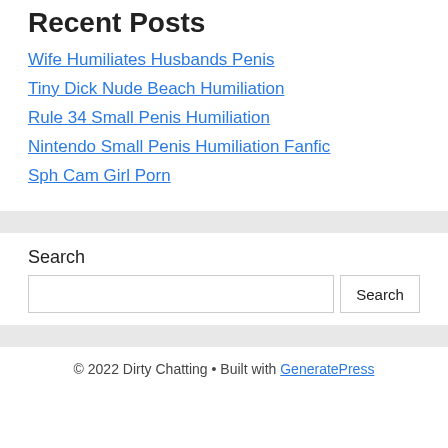Recent Posts
Wife Humiliates Husbands Penis
Tiny Dick Nude Beach Humiliation
Rule 34 Small Penis Humiliation
Nintendo Small Penis Humiliation Fanfic
Sph Cam Girl Porn
Search
© 2022 Dirty Chatting • Built with GeneratePress